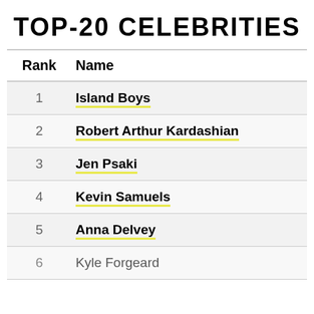TOP-20 CELEBRITIES
| Rank | Name |
| --- | --- |
| 1 | Island Boys |
| 2 | Robert Arthur Kardashian |
| 3 | Jen Psaki |
| 4 | Kevin Samuels |
| 5 | Anna Delvey |
| 6 | Kyle Forgeard |